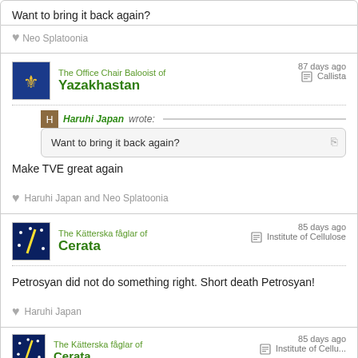Want to bring it back again?
♥ Neo Splatoonia
The Office Chair Balooist of Yazakhastan
87 days ago Callista
Haruhi Japan wrote: Want to bring it back again?
Make TVE great again
♥ Haruhi Japan and Neo Splatoonia
The Kätterska fåglar of Cerata
85 days ago Institute of Cellulose
Petrosyan did not do something right. Short death Petrosyan!
♥ Haruhi Japan
The Kätterska fåglar of Cerata
85 days ago Institute of Cellu...